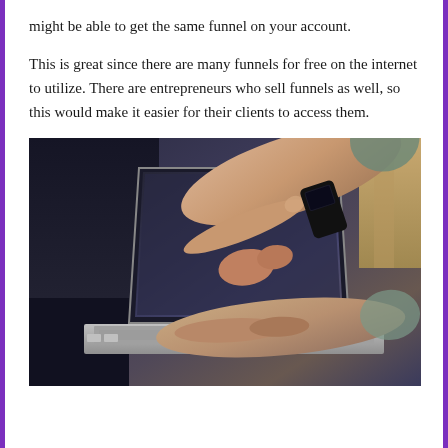might be able to get the same funnel on your account.
This is great since there are many funnels for free on the internet to utilize. There are entrepreneurs who sell funnels as well, so this would make it easier for their clients to access them.
[Figure (photo): A person pointing at a laptop screen with one hand while typing on the keyboard with the other hand. The person is wearing a black wristband/smartwatch and a ring. The photo is taken from the side showing the laptop, hands and arms against a dark background.]